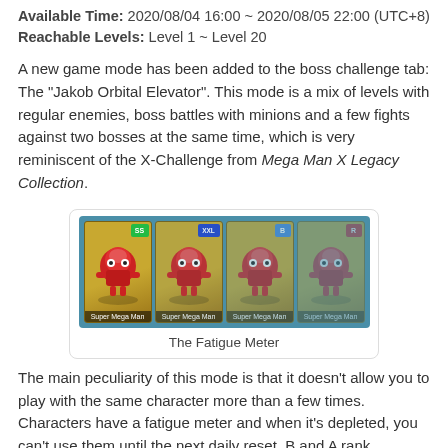Available Time: 2020/08/04 16:00 ~ 2020/08/05 22:00 (UTC+8)
Reachable Levels: Level 1 ~ Level 20
A new game mode has been added to the boss challenge tab: The "Jakob Orbital Elevator". This mode is a mix of levels with regular enemies, boss battles with minions and a few fights against two bosses at the same time, which is very reminiscent of the X-Challenge from Mega Man X Legacy Collection.
[Figure (illustration): Four Super Mega Man character cards displayed side by side showing the Fatigue Meter mechanic, with different rank badges (SS, XXL, B, R) in varying opacity states]
The Fatigue Meter
The main peculiarity of this mode is that it doesn't allow you to play with the same character more than a few times. Characters have a fatigue meter and when it's depleted, you can't use them until the next daily reset. B and A rank